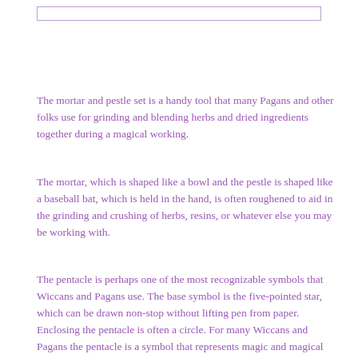The mortar and pestle set is a handy tool that many Pagans and other folks use for grinding and blending herbs and dried ingredients together during a magical working.
The mortar, which is shaped like a bowl and the pestle is shaped like a baseball bat, which is held in the hand, is often roughened to aid in the grinding and crushing of herbs, resins, or whatever else you may be working with.
The pentacle is perhaps one of the most recognizable symbols that Wiccans and Pagans use. The base symbol is the five-pointed star, which can be drawn non-stop without lifting pen from paper. Enclosing the pentacle is often a circle. For many Wiccans and Pagans the pentacle is a symbol that represents magic and magical workings as a whole. For others it’s used as a talisman, a